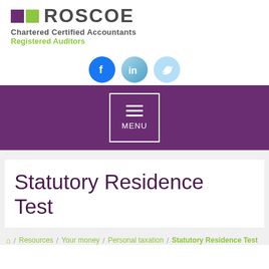[Figure (logo): Roscoe Chartered Certified Accountants Registered Auditors logo with purple and green squares]
[Figure (infographic): Social media icons: Facebook (blue circle with f), LinkedIn (light blue circle with 'in'), Twitter (light blue circle with bird icon)]
[Figure (infographic): Purple navigation bar with hamburger menu button labeled MENU in a white border box]
Statutory Residence Test
Resources / Your money / Personal taxation / Statutory Residence Test